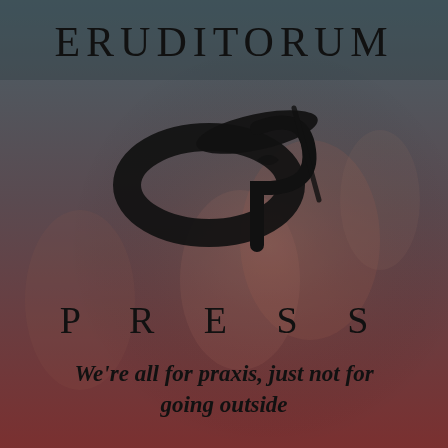[Figure (logo): Eruditorum Press logo: stylized 'EP' monogram in black on a muted background image of classical figures, with the word ERUDITORUM at top and PRESS below the logo mark, and a tagline at the bottom.]
ERUDITORUM
PRESS
We're all for praxis, just not for going outside